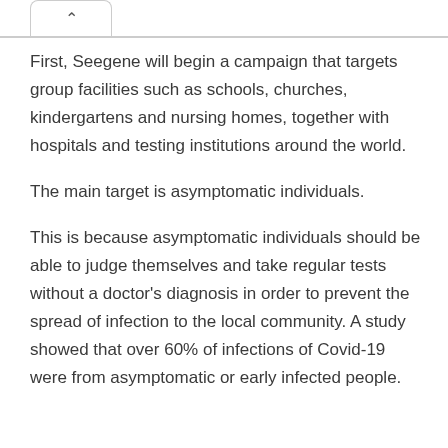First, Seegene will begin a campaign that targets group facilities such as schools, churches, kindergartens and nursing homes, together with hospitals and testing institutions around the world.
The main target is asymptomatic individuals.
This is because asymptomatic individuals should be able to judge themselves and take regular tests without a doctor's diagnosis in order to prevent the spread of infection to the local community. A study showed that over 60% of infections of Covid-19 were from asymptomatic or early infected people.